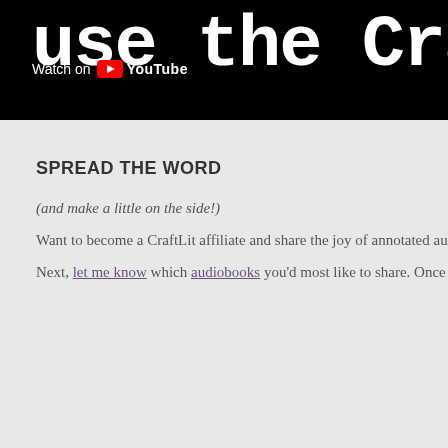[Figure (screenshot): YouTube video banner with black background showing partial text 'use the Cra' in large white distressed font, with 'Watch on YouTube' overlay in white]
SPREAD THE WORD
(and make a little on the side!)
Want to become a CraftLit affiliate and share the joy of annotated audiob…
Next, let me know which audiobooks you'd most like to share. Once I k…